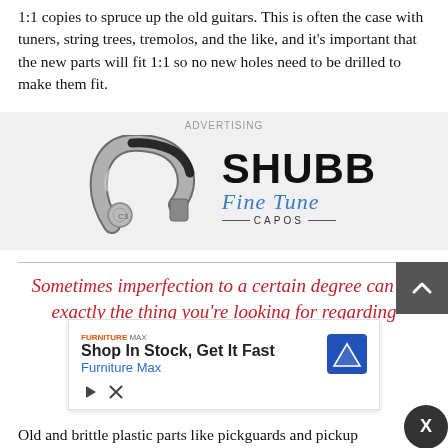1:1 copies to spruce up the old guitars. This is often the case with tuners, string trees, tremolos, and the like, and it's important that the new parts will fit 1:1 so no new holes need to be drilled to make them fit.
[Figure (illustration): Advertisement banner for Shubb Fine Tune Capos showing a silver capo clamp on the left and the Shubb Fine Tune Capos logo on the right, on a light grey background.]
Sometimes imperfection to a certain degree can be exactly the thing you're looking for regarding
[Figure (infographic): Overlay advertisement for Furniture Max: 'Shop In Stock, Get It Fast' with blue navigation icon and close controls.]
Old and brittle plastic parts like pickguards and pickup